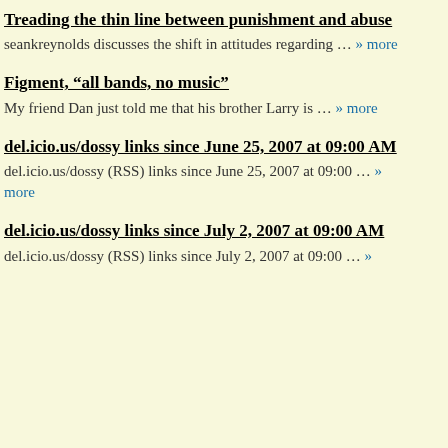Treading the thin line between punishment and abuse
seankreynolds discusses the shift in attitudes regarding … » more
Figment, “all bands, no music”
My friend Dan just told me that his brother Larry is … » more
del.icio.us/dossy links since June 25, 2007 at 09:00 AM
del.icio.us/dossy (RSS) links since June 25, 2007 at 09:00 … » more
del.icio.us/dossy links since July 2, 2007 at 09:00 AM
del.icio.us/dossy (RSS) links since July 2, 2007 at 09:00 … »